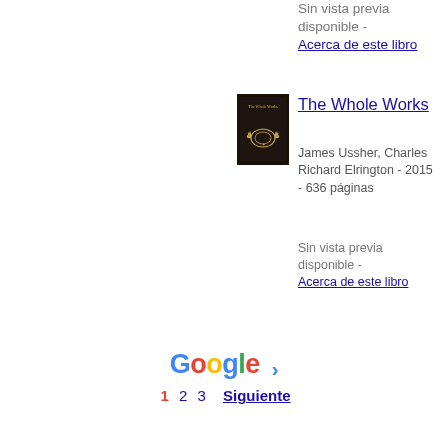Sin vista previa disponible -
Acerca de este libro
[Figure (photo): Book cover of The Whole Works — black cover with gold laurel wreath emblem]
The Whole Works
James Ussher, Charles Richard Elrington - 2015 - 636 páginas
Sin vista previa disponible -
Acerca de este libro
Google > 1 2 3 Siguiente